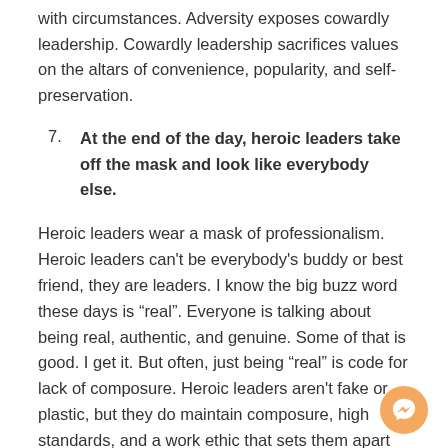with circumstances. Adversity exposes cowardly leadership. Cowardly leadership sacrifices values on the altars of convenience, popularity, and self-preservation.
7. At the end of the day, heroic leaders take off the mask and look like everybody else.
Heroic leaders wear a mask of professionalism. Heroic leaders can't be everybody's buddy or best friend, they are leaders. I know the big buzz word these days is “real”. Everyone is talking about being real, authentic, and genuine. Some of that is good. I get it. But often, just being “real” is code for lack of composure. Heroic leaders aren't fake or plastic, but they do maintain composure, high standards, and a work ethic that sets them apart from others.